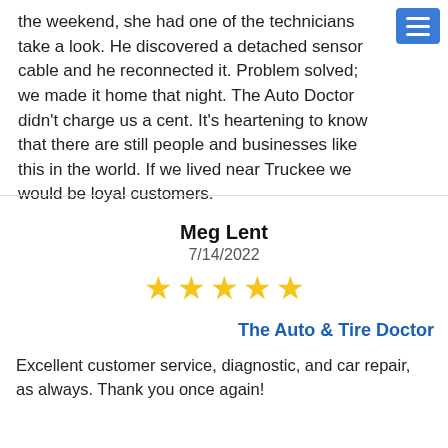the weekend, she had one of the technicians take a look. He discovered a detached sensor cable and he reconnected it. Problem solved; we made it home that night. The Auto Doctor didn't charge us a cent. It's heartening to know that there are still people and businesses like this in the world. If we lived near Truckee we would be loyal customers.
Meg Lent
7/14/2022
[Figure (other): 5 gold star rating icons]
The Auto & Tire Doctor
Excellent customer service, diagnostic, and car repair, as always. Thank you once again!